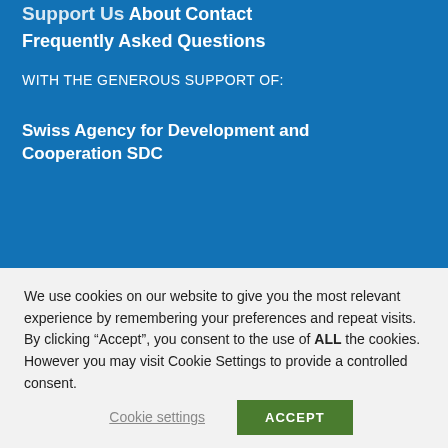Support Us
About
Contact
Frequently Asked Questions
WITH THE GENEROUS SUPPORT OF:
Swiss Agency for Development and Cooperation SDC
We use cookies on our website to give you the most relevant experience by remembering your preferences and repeat visits. By clicking “Accept”, you consent to the use of ALL the cookies. However you may visit Cookie Settings to provide a controlled consent.
Cookie settings
ACCEPT